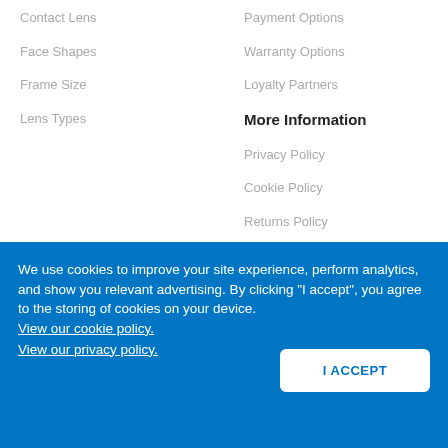Contact Lens
Payment Options
Face Shapes
Warranty Options
Frame Size
Loyalty Partners
More Information
Lens Types
Privacy Policy
Cookie Policy
Returns Policy
Social Responsibility
We use cookies to improve your site experience, perform analytics, and show you relevant advertising. By clicking "I accept", you agree to the storing of cookies on your device. View our cookie policy. View our privacy policy.
I ACCEPT